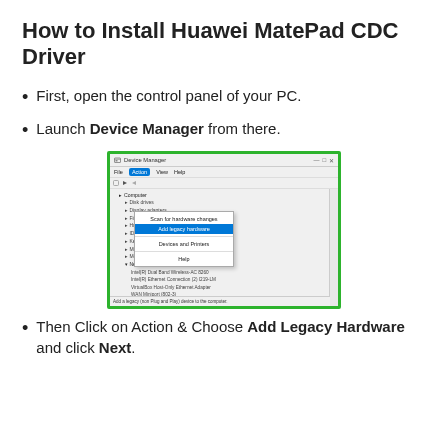How to Install Huawei MatePad CDC Driver
First, open the control panel of your PC.
Launch Device Manager from there.
[Figure (screenshot): Screenshot of Windows Device Manager showing the Action menu open with 'Add legacy hardware' highlighted in blue. The tree shows Computer with Disk drives, Display adapters, Firmware, Human Interface Devices, IDE ATA/ATAPI controllers, Keyboards, Mice and other pointing devices, Monitors, Network adapters (expanded) with multiple WAN Miniport entries. Status bar reads: Add a legacy (non Plug and Play) device to the computer.]
Then Click on Action & Choose Add Legacy Hardware and click Next.